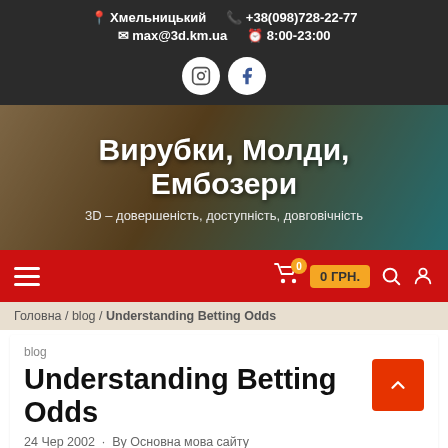Хмельницький  +38(098)728-22-77  max@3d.km.ua  8:00-23:00
[Figure (screenshot): Instagram and Facebook social media icon buttons (circular white buttons)]
Вирубки, Молди,Ембозери
3D – довершеність, доступність, довговічність
[Figure (screenshot): Red navigation bar with hamburger menu on left and cart icon, 0 ГРН. price badge, search and user icon on right]
Головна / blog / Understanding Betting Odds
blog
Understanding Betting Odds
24 Чер 2002  ·  By Основна мова сайту